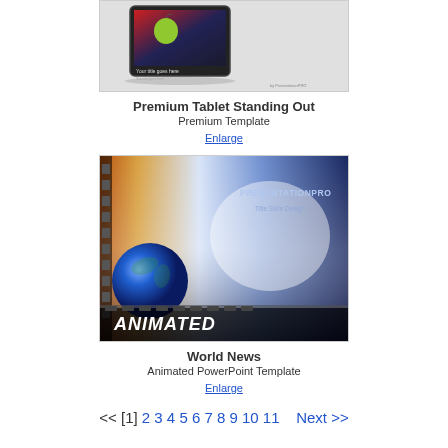[Figure (screenshot): Thumbnail image of Premium Tablet Standing Out PowerPoint template showing a tablet with an apple on screen]
Premium Tablet Standing Out
Premium Template
Enlarge
[Figure (screenshot): Thumbnail image of World News Animated PowerPoint Template showing a blue globe, orange light effects, and ANIMATED badge at bottom]
World News
Animated PowerPoint Template
Enlarge
<< [1] 2 3 4 5 6 7 8 9 10 11  Next >>